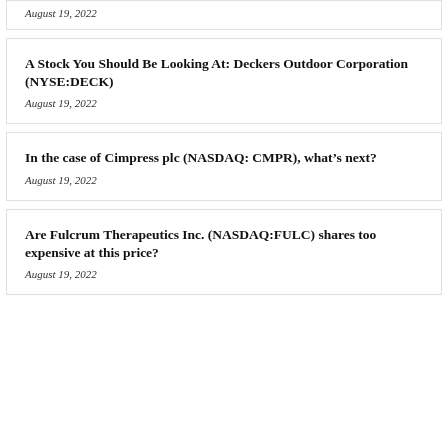August 19, 2022
A Stock You Should Be Looking At: Deckers Outdoor Corporation (NYSE:DECK)
August 19, 2022
In the case of Cimpress plc (NASDAQ: CMPR), what's next?
August 19, 2022
Are Fulcrum Therapeutics Inc. (NASDAQ:FULC) shares too expensive at this price?
August 19, 2022